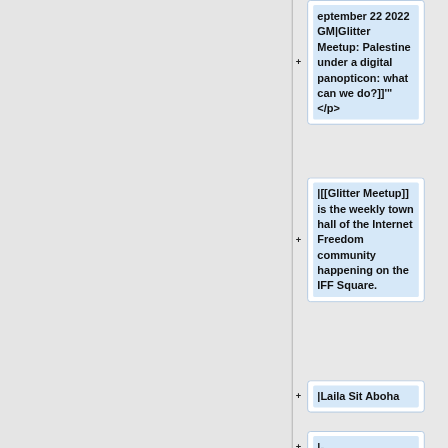eptember 22 2022 GM|Glitter Meetup: Palestine under a digital panopticon: what can we do?]]'"</p>
|[[Glitter Meetup]] is the weekly town hall of the Internet Freedom community happening on the IFF Square.
|Laila Sit Aboha
|-
|September 21